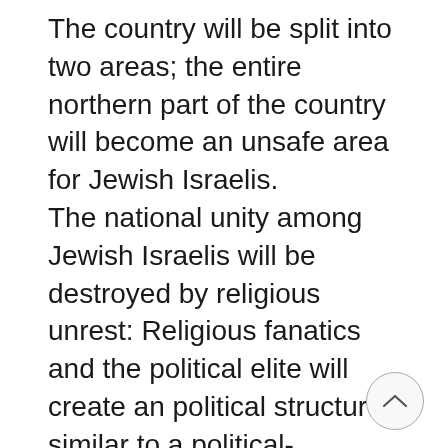The country will be split into two areas; the entire northern part of the country will become an unsafe area for Jewish Israelis. The national unity among Jewish Israelis will be destroyed by religious unrest: Religious fanatics and the political elite will create an political structure similar to a political-religious dictatorship (presumably comparable to